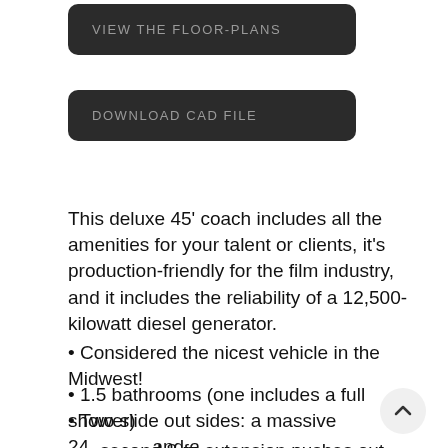[Figure (other): Dark rounded button labeled VIEW THE FLOOR-PLANS]
[Figure (other): Dark rounded button labeled DOWNLOAD CAD FILE]
This deluxe 45' coach includes all the amenities for your talent or clients, it's production-friendly for the film industry, and it includes the reliability of a 12,500-kilowatt diesel generator.
• Considered the nicest vehicle in the Midwest!
• 1.5 bathrooms (one includes a full shower)
• Two slide out sides: a massive 24 and a
second 8-ft. extension pushes out